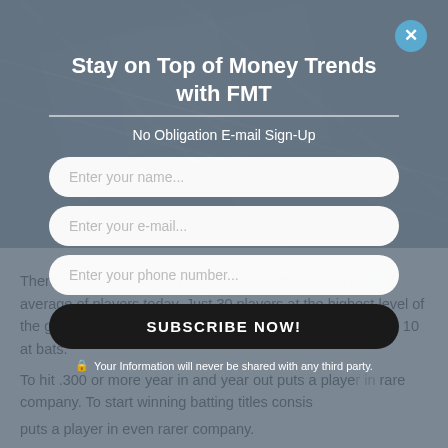[Figure (screenshot): Modal popup overlay on a financial news article page with a blurred background photo of financial documents/charts]
Stay on Top of Money Trends with FMT
No Obligation E-mail Sign-Up
Enter your name...
Enter your e-mail...
Enter your phone number...
SUBSCRIBE NOW!
Your Information will never be shared with any third party.
There are only 28 Major League studies that saves batting average of players today. Just 30 players at the highest level of the game can barely get base hits more than 3 out of every 10 at bats.
To hit .300 or more year in and year out puts a player in rare company. To start winning batting titles consists puts a player in even rarer company.